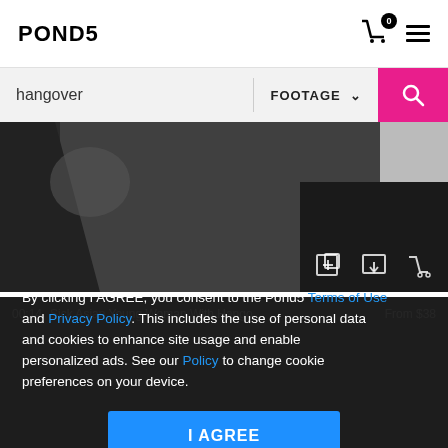[Figure (screenshot): Pond5 website header with logo, cart icon showing 0, and hamburger menu]
hangover | FOOTAGE
[Figure (photo): Cropped image of a person lying on bed, dark themed]
[Figure (screenshot): Video thumbnail with overlay showing 00:14, Sick Asian Young Woman With Hango... From $38, HD label]
By clicking I AGREE, you consent to the Pond5 Terms of Use and Privacy Policy. This includes the use of personal data and cookies to enhance site usage and enable personalized ads. See our Policy to change cookie preferences on your device.
I AGREE